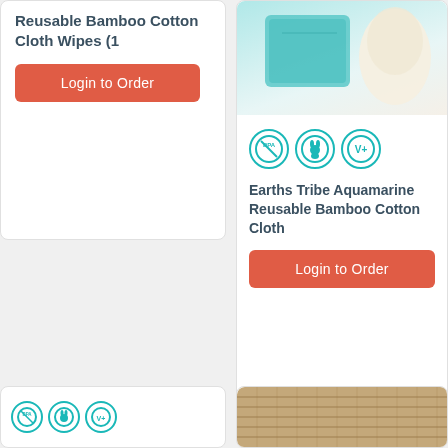Reusable Bamboo Cotton Cloth Wipes (1
[Figure (illustration): Login to Order button (red/orange rounded rectangle) for left card]
[Figure (photo): Product image showing teal/turquoise and cream cloth wipes]
[Figure (infographic): Three circular badges: BPA free, cruelty-free rabbit, V+]
Earths Tribe Aquamarine Reusable Bamboo Cotton Cloth
[Figure (illustration): Login to Order button for right card]
[Figure (infographic): Bottom left card showing three small teal circular badges]
[Figure (photo): Bottom right card showing a woven/bamboo product image]